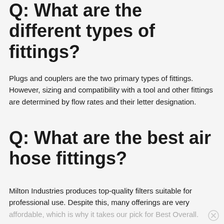Q: What are the different types of fittings?
Plugs and couplers are the two primary types of fittings. However, sizing and compatibility with a tool and other fittings are determined by flow rates and their letter designation.
Q: What are the best air hose fittings?
Milton Industries produces top-quality filters suitable for professional use. Despite this, many offerings are very affordable, which is why it takes our pick for Best Overall.